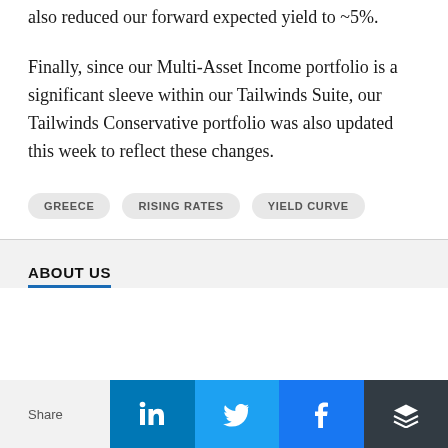also reduced our forward expected yield to ~5%.
Finally, since our Multi-Asset Income portfolio is a significant sleeve within our Tailwinds Suite, our Tailwinds Conservative portfolio was also updated this week to reflect these changes.
GREECE   RISING RATES   YIELD CURVE
ABOUT US
Share